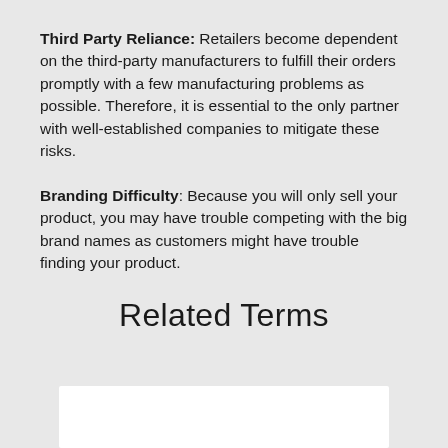Third Party Reliance: Retailers become dependent on the third-party manufacturers to fulfill their orders promptly with a few manufacturing problems as possible. Therefore, it is essential to the only partner with well-established companies to mitigate these risks.
Branding Difficulty: Because you will only sell your product, you may have trouble competing with the big brand names as customers might have trouble finding your product.
Related Terms